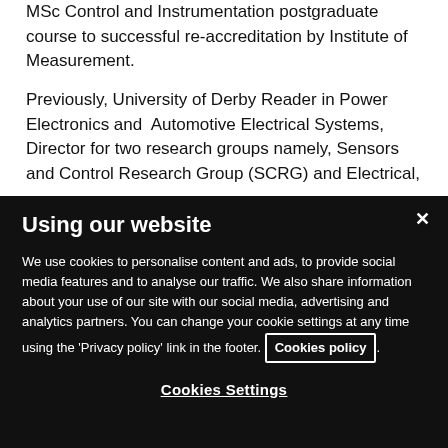MSc Control and Instrumentation postgraduate course to successful re-accreditation by Institute of Measurement.
Previously, University of Derby Reader in Power Electronics and Automotive Electrical Systems, Director for two research groups namely, Sensors and Control Research Group (SCRG) and Electrical,
Using our website
We use cookies to personalise content and ads, to provide social media features and to analyse our traffic. We also share information about your use of our site with our social media, advertising and analytics partners. You can change your cookie settings at any time using the 'Privacy policy' link in the footer. Cookies policy.
Cookies Settings